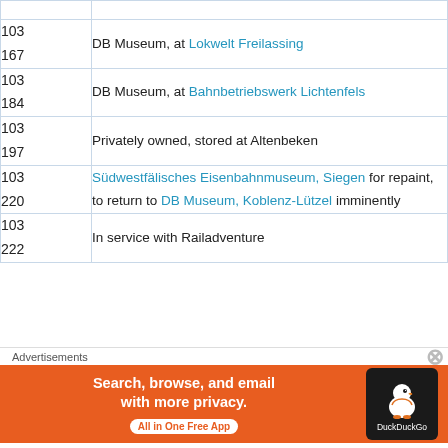| Number | Description |
| --- | --- |
| 103
167 | DB Museum, at Lokwelt Freilassing |
| 103
184 | DB Museum, at Bahnbetriebswerk Lichtenfels |
| 103
197 | Privately owned, stored at Altenbeken |
| 103
220 | Südwestfälisches Eisenbahnmuseum, Siegen for repaint, to return to DB Museum, Koblenz-Lützel imminently |
| 103
222 | In service with Railadventure |
Advertisements
[Figure (infographic): DuckDuckGo advertisement banner: 'Search, browse, and email with more privacy. All in One Free App' with DuckDuckGo logo on dark background.]